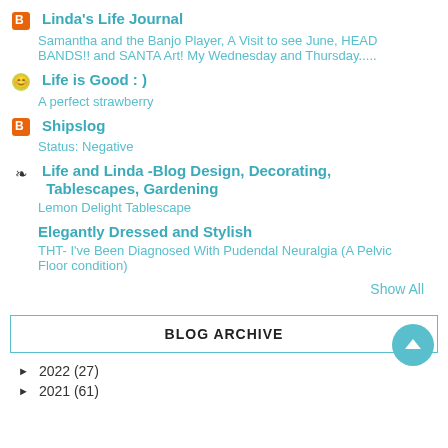Linda's Life Journal - Samantha and the Banjo Player, A Visit to see June, HEAD BANDS!! and SANTA Art! My Wednesday and Thursday.....
Life is Good : ) - A perfect strawberry
Shipslog - Status: Negative
Life and Linda -Blog Design, Decorating, Tablescapes, Gardening - Lemon Delight Tablescape
Elegantly Dressed and Stylish - THT- I've Been Diagnosed With Pudendal Neuralgia (A Pelvic Floor condition)
Show All
BLOG ARCHIVE
► 2022 (27)
► 2021 (61)